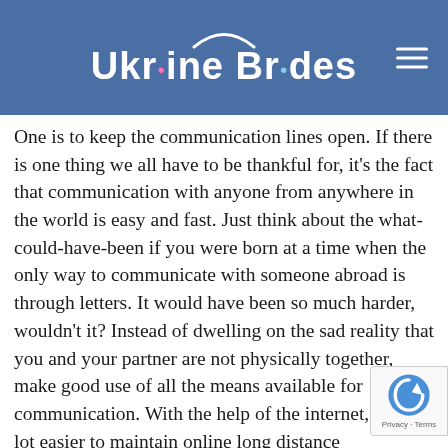Ukraine Brides
One is to keep the communication lines open. If there is one thing we all have to be thankful for, it's the fact that communication with anyone from anywhere in the world is easy and fast. Just think about the what-could-have-been if you were born at a time when the only way to communicate with someone abroad is through letters. It would have been so much harder, wouldn't it? Instead of dwelling on the sad reality that you and your partner are not physically together, make good use of all the means available for communication. With the help of the internet, it is a lot easier to maintain online long distance relationships. Thanks to free online audio and video messaging services, you can talk to a loved one anytime, anywhere.  You can chat, do voice calls and video calls to make it feel as if you are never apart. Agree on a consistent schedule for getting in touch and catching up on each other. Make communication regular and consistent regardless of how busy your schedules are. This will help reduce the feelings of